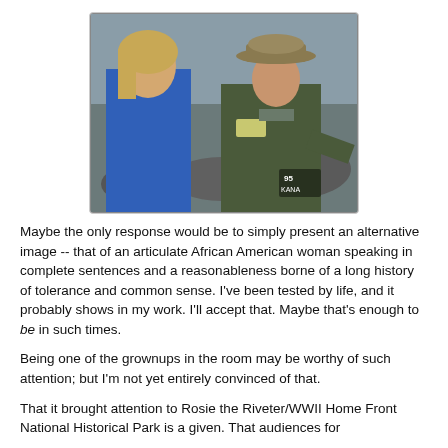[Figure (photo): A woman in a blue jacket speaking with a park ranger wearing a tan campaign hat and dark green uniform, outdoors near rocks and water. A TV station watermark '95 KANA' is visible on the image.]
Maybe the only response  would be to simply present an alternative  image -- that of an articulate African American woman speaking in complete sentences and a reasonableness borne of a long history of tolerance and common sense.  I've been tested by life, and it probably shows in my work.  I'll accept that.  Maybe that's enough to be in such times.
Being one of the grownups in the room may be worthy of such attention; but I'm not yet  entirely convinced of that.
That it brought attention to Rosie the Riveter/WWII Home Front National Historical Park is a given.  That audiences for